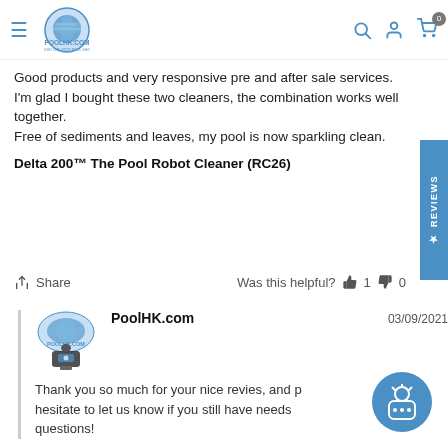[Figure (logo): PoolHK.com logo with globe graphic and tagline 'YOUR ONE STOP POOL SHOP']
Good products and very responsive pre and after sale services.
I'm glad I bought these two cleaners, the combination works well together.
Free of sediments and leaves, my pool is now sparkling clean.
Delta 200™ The Pool Robot Cleaner (RC26)
Share   Was this helpful?  👍 1  👎 0
[Figure (logo): PoolHK.com logo with pool robot image]
PoolHK.com
03/09/2021
Thank you so much for your nice revies, and please don't hesitate to let us know if you still have needs or questions!